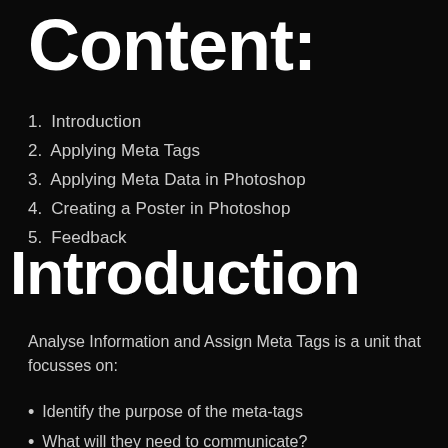Content:
1. Introduction
2. Applying Meta Tags
3. Applying Meta Data in Photoshop
4. Creating a Poster in Photoshop
5. Feedback
Introduction
Analyse Information and Assign Meta Tags is a unit that focusses on:
Identify the purpose of the meta-tags
What will they need to communicate?